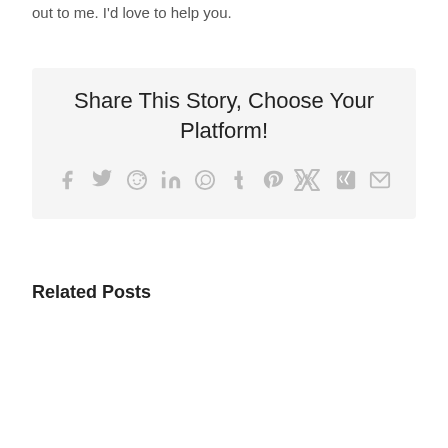out to me. I'd love to help you.
Share This Story, Choose Your Platform!
[Figure (infographic): Social media sharing icons: Facebook, Twitter, Reddit, LinkedIn, WhatsApp, Tumblr, Pinterest, VK, XING, Email]
Related Posts